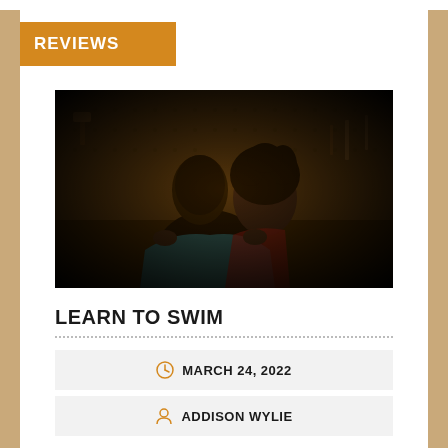REVIEWS
[Figure (photo): Two people in a workshop/garage setting with tools on a pegboard wall. A person in a teal top sits in front while another person with curly hair and red clothing stands behind with hands on the first person's shoulders. The lighting is warm and dramatic.]
LEARN TO SWIM
MARCH 24, 2022
ADDISON WYLIE